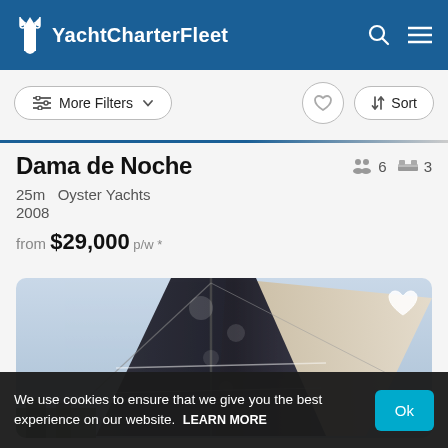YachtCharterFleet
More Filters  Sort
Dama de Noche
25m  Oyster Yachts
2008
from $29,000 p/w *
[Figure (photo): Photograph of a sailing yacht showing dark sails and mast against a light sky, with buildings visible at the base.]
We use cookies to ensure that we give you the best experience on our website.  LEARN MORE  Ok